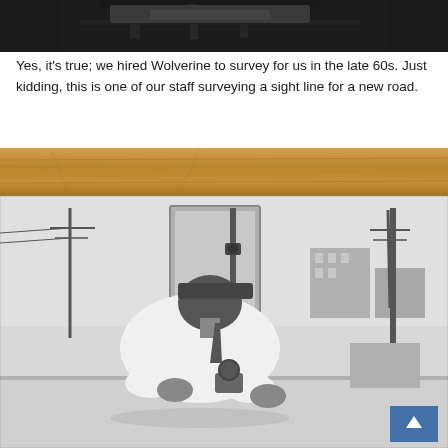[Figure (photo): Top portion of an old black and white photograph, partially cropped, showing surveying equipment or a similar scene from the late 1960s.]
Yes, it's true; we hired Wolverine to survey for us in the late 60s. Just kidding, this is one of our staff surveying a sight line for a new road.
[Figure (photo): Black and white vintage photograph (late 1960s) of a man in a white shirt and hard hat leaning over a table looking through surveying equipment (a theodolite or level), with utility poles and buildings visible in the background. Photo is framed by a wooden border at the top. A small blue navigation arrow overlay appears in the bottom-right corner.]